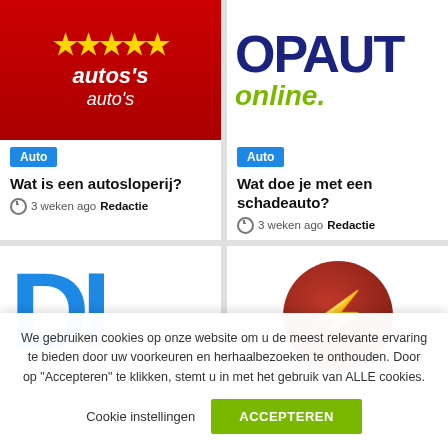[Figure (logo): Autosloperij logo with red background, yellow stars and italic white text 'auto's']
Auto
Wat is een autosloperij?
3 weken ago  Redactie
[Figure (logo): Opaut online logo: dark navy bold 'OPAUT' text with green italic 'online.' below]
Auto
Wat doe je met een schadeauto?
3 weken ago  Redactie
[Figure (logo): Partial blue letters logo, bottom half cut off]
[Figure (logo): Circular dark red logo with yellow lightning bolt]
We gebruiken cookies op onze website om u de meest relevante ervaring te bieden door uw voorkeuren en herhaalbezoeken te onthouden. Door op "Accepteren" te klikken, stemt u in met het gebruik van ALLE cookies.
Cookie instellingen
ACCEPTEREN